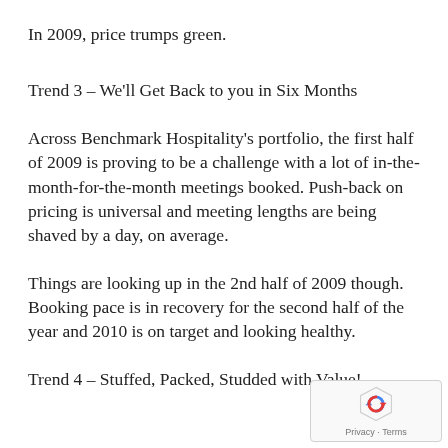In 2009, price trumps green.
Trend 3 – We'll Get Back to you in Six Months
Across Benchmark Hospitality's portfolio, the first half of 2009 is proving to be a challenge with a lot of in-the-month-for-the-month meetings booked. Push-back on pricing is universal and meeting lengths are being shaved by a day, on average.
Things are looking up in the 2nd half of 2009 though. Booking pace is in recovery for the second half of the year and 2010 is on target and looking healthy.
Trend 4 – Stuffed, Packed, Studded with Value!